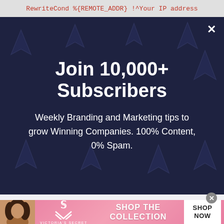RewriteCond %{REMOTE_ADDR} !^Your IP address
[Figure (screenshot): Dark blue modal popup overlay with cursor/arrow icons pattern, showing newsletter subscription call-to-action. Contains a white X close button in the top right corner.]
Join 10,000+ Subscribers
Weekly Branding and Marketing tips to grow Winning Companies. 100% Content, 0% Spam.
[Figure (photo): Victoria's Secret advertisement banner with a woman photo on left, VS logo in center, SHOP THE COLLECTION text, and a white SHOP NOW button on right.]